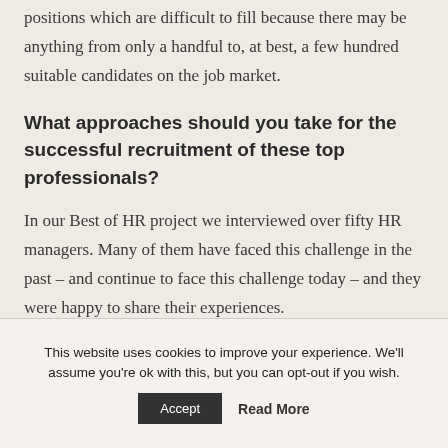positions which are difficult to fill because there may be anything from only a handful to, at best, a few hundred suitable candidates on the job market.
What approaches should you take for the successful recruitment of these top professionals?
In our Best of HR project we interviewed over fifty HR managers. Many of them have faced this challenge in the past – and continue to face this challenge today – and they were happy to share their experiences.
This website uses cookies to improve your experience. We'll assume you're ok with this, but you can opt-out if you wish.